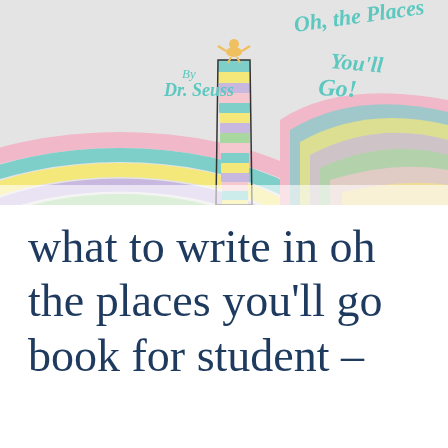[Figure (illustration): Book cover illustration of 'Oh, the Places You'll Go!' by Dr. Seuss. Features colorful swirling rainbow stripes forming hills and a tall striped pole/tower in the center with a small figure (the boy) standing on top. The title text 'Oh, the Places You'll Go!' is written in teal stylized lettering at the top, with 'By Dr. Seuss' below it.]
what to write in oh the places you'll go book for student –